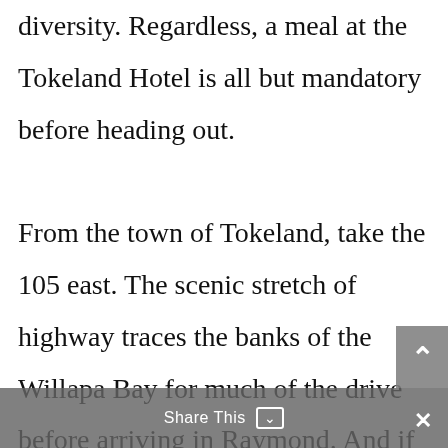diversity. Regardless, a meal at the Tokeland Hotel is all but mandatory before heading out.

From the town of Tokeland, take the 105 east. The scenic stretch of highway traces the banks of the Willapa Bay for much of the drive before arriving in Raymond. And if you came from the north, now's your chance to get that burger and pint at the Pitchwood, or check out
Share This ∨